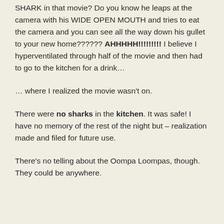SHARK in that movie? Do you know he leaps at the camera with his WIDE OPEN MOUTH and tries to eat the camera and you can see all the way down his gullet to your new home?????? AHHHHH!!!!!!!!! I believe I hyperventilated through half of the movie and then had to go to the kitchen for a drink…
… where I realized the movie wasn't on.
There were no sharks in the kitchen. It was safe! I have no memory of the rest of the night but – realization made and filed for future use.
There's no telling about the Oompa Loompas, though. They could be anywhere.